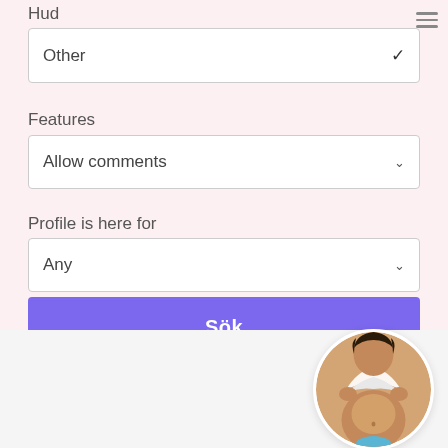Hud
Other
Features
Allow comments
Profile is here for
Any
Sök
[Figure (photo): Circular profile picture of a person]